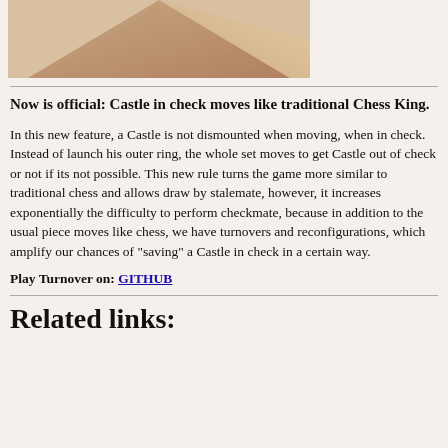[Figure (photo): Partial image of a pyramid-like wooden or cork structure, warm brown tones, cropped at the top.]
Now is official: Castle in check moves like traditional Chess King.
In this new feature, a Castle is not dismounted when moving, when in check. Instead of launch his outer ring, the whole set moves to get Castle out of check or not if its not possible. This new rule turns the game more similar to traditional chess and allows draw by stalemate, however, it increases exponentially the difficulty to perform checkmate, because in addition to the usual piece moves like chess, we have turnovers and reconfigurations, which amplify our chances of "saving" a Castle in check in a certain way.
Play Turnover on: GITHUB
Related links: